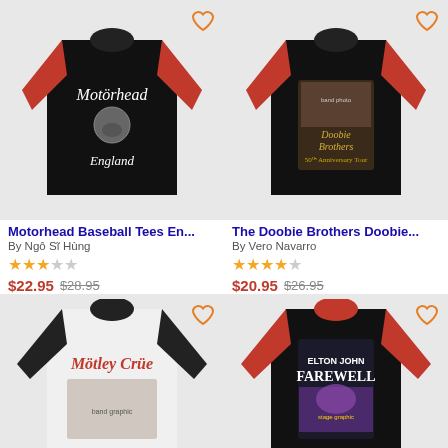[Figure (photo): Black and red raglan baseball tee with Motorhead England logo]
Motorhead Baseball Tees En...
By Ngô Sĩ Hùng
3 out of 5 stars
$22.95  $28.95
[Figure (photo): Black and red raglan baseball tee with Doobie Brothers 50th Anniversary Tour graphic]
The Doobie Brothers Doobie...
By Vero Navarro
4 out of 5 stars
$20.95  $26.95
[Figure (photo): White and black raglan baseball tee with Mötley Crüe graphic]
[Figure (photo): Black and red raglan baseball tee with Elton John Farewell graphic]